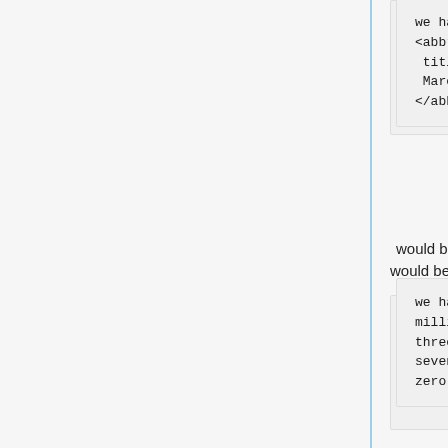we have a party in <abbr class="dtstart" title="20070312T1700-06"> March 12, 2007 at 5 PM </abbr>
would be read by jaws as
we have a party at Twenty million seventy-thousand three-hundred twelve tee seventeen-hundred dash zero six.
The acessibility task force from web standarsd.org recommends:
<span class="dtstart" title="20070312T1700-06"> March 12, 2007 at 5 PM, Central Standard Time </span>